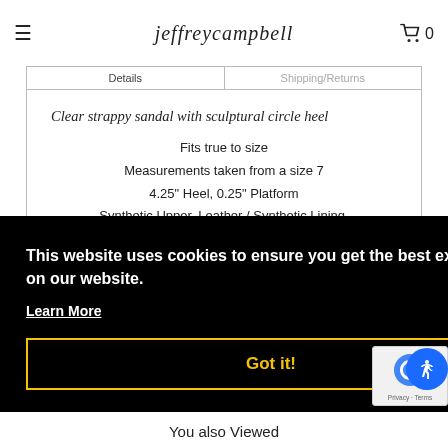jeffreycampbell
Clear strappy sandal with sculptural circle heel
Fits true to size
Measurements taken from a size 7
4.25" Heel, 0.25" Platform
Synthetic Upper, Leather / Synthetic Lining,
This website uses cookies to ensure you get the best experience on our website.
Learn More
Got it!
You also Viewed